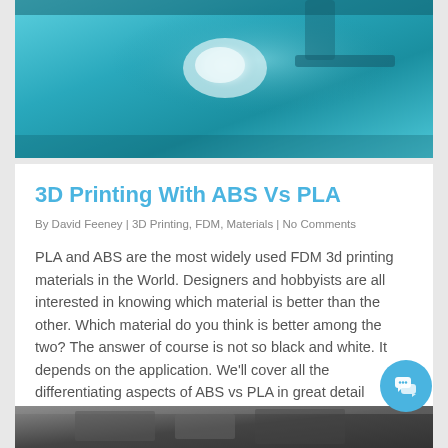[Figure (photo): Top image of a 3D printer printing a white object, teal/cyan background tones]
3D Printing With ABS Vs PLA
By David Feeney | 3D Printing, FDM, Materials | No Comments
PLA and ABS are the most widely used FDM 3d printing materials in the World. Designers and hobbyists are all interested in knowing which material is better than the other. Which material do you think is better among the two? The answer of course is not so black and white. It depends on the application. We'll cover all the differentiating aspects of ABS vs PLA in great detail throughout this article.
December 23, 2019
[Figure (photo): Bottom partial image, dark tones, appears to show metal 3D printed parts]